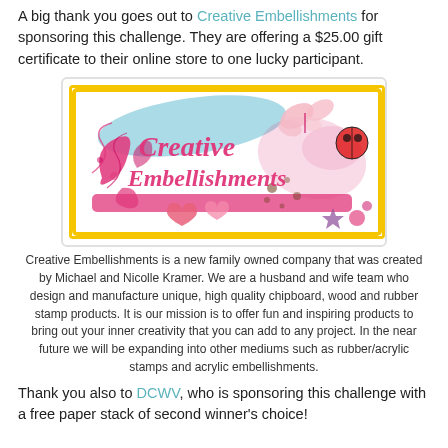A big thank you goes out to Creative Embellishments for sponsoring this challenge. They are offering a $25.00 gift certificate to their online store to one lucky participant.
[Figure (logo): Creative Embellishments logo — decorative pink and gold bordered rectangle with swirling floral motifs, butterflies, hearts, and the company name in pink script on a blue and white background with pink splatter effects and ladybug/star accents.]
Creative Embellishments is a new family owned company that was created by Michael and Nicolle Kramer. We are a husband and wife team who design and manufacture unique, high quality chipboard, wood and rubber stamp products. It is our mission is to offer fun and inspiring products to bring out your inner creativity that you can add to any project. In the near future we will be expanding into other mediums such as rubber/acrylic stamps and acrylic embellishments.
Thank you also to DCWV, who is sponsoring this challenge with a free paper stack of second winner's choice!